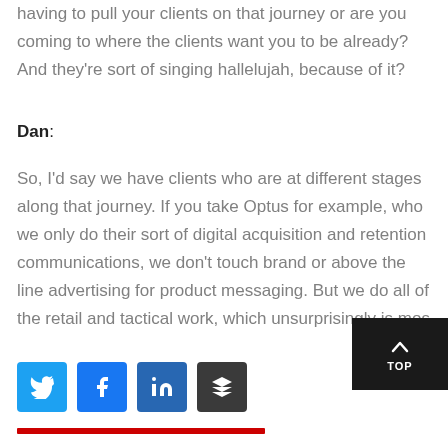having to pull your clients on that journey or are you coming to where the clients want you to be already? And they're sort of singing hallelujah, because of it?
Dan:
So, I'd say we have clients who are at different stages along that journey. If you take Optus for example, who we only do their sort of digital acquisition and retention communications, we don't touch brand or above the line advertising for product messaging. But we do all of the retail and tactical work, which unsurprisingly is mos